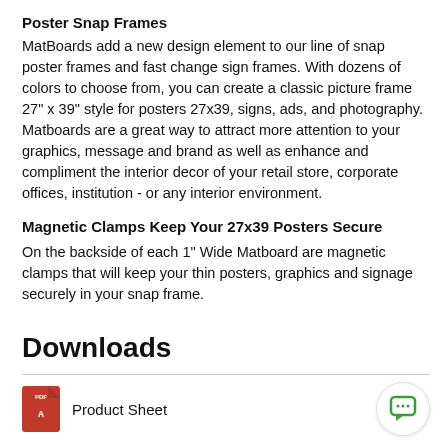Poster Snap Frames
MatBoards add a new design element to our line of snap poster frames and fast change sign frames. With dozens of colors to choose from, you can create a classic picture frame 27" x 39" style for posters 27x39, signs, ads, and photography. Matboards are a great way to attract more attention to your graphics, message and brand as well as enhance and compliment the interior decor of your retail store, corporate offices, institution - or any interior environment.
Magnetic Clamps Keep Your 27x39 Posters Secure
On the backside of each 1" Wide Matboard are magnetic clamps that will keep your thin posters, graphics and signage securely in your snap frame.
Downloads
Product Sheet